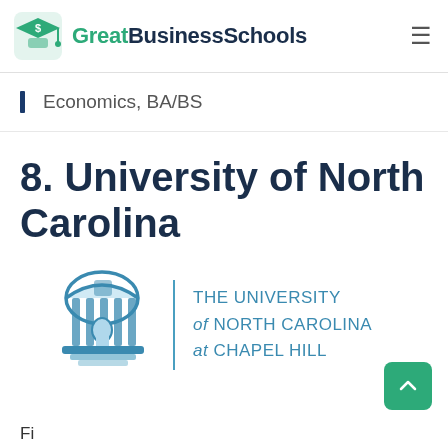GreatBusinessSchools
Economics, BA/BS
8. University of North Carolina
[Figure (logo): The University of North Carolina at Chapel Hill logo with the Old Well dome icon and text 'THE UNIVERSITY of NORTH CAROLINA at CHAPEL HILL']
Fi...